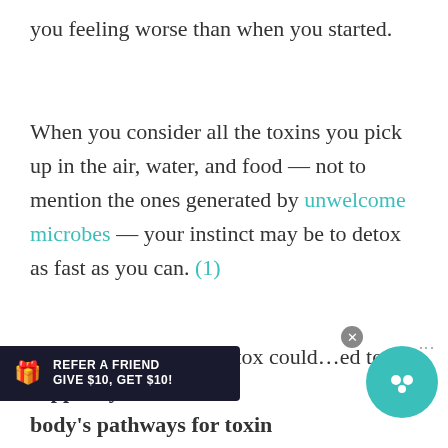you feeling worse than when you started.
When you consider all the toxins you pick up in the air, water, and food — not to mention the ones generated by unwelcome microbes — your instinct may be to detox as fast as you can. (1)
But that approach to detox could …ed to support your body's pathways for toxin